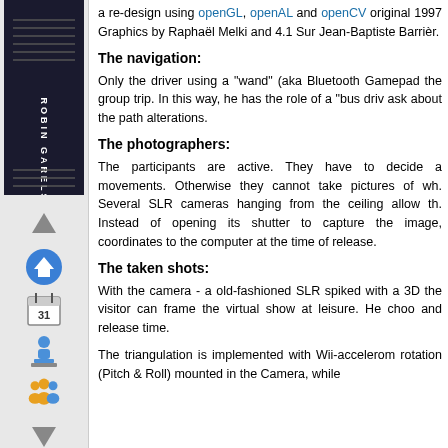[Figure (other): Sidebar with dark logo area showing 'ROBIN GARELS' text vertically and navigation icons including up arrow, home button, calendar/31, person with pedestal, group of people, and down arrow]
a re-design using openGL, openAL and openCV. original 1997 Graphics by Raphaël Melki and 4.1 Sur Jean-Baptiste Barrièr.
The navigation:
Only the driver using a "wand" (aka Bluetooth Gamepad the group trip. In this way, he has the role of a "bus driv ask about the path alterations.
The photographers:
The participants are active. They have to decide a movements. Otherwise they cannot take pictures of wh. Several SLR cameras hanging from the ceiling allow th. Instead of opening its shutter to capture the image, coordinates to the computer at the time of release.
The taken shots:
With the camera - a old-fashioned SLR spiked with a 3D the visitor can frame the virtual show at leisure. He choo and release time.
The triangulation is implemented with Wii-accelerom rotation (Pitch & Roll) mounted in the Camera, while